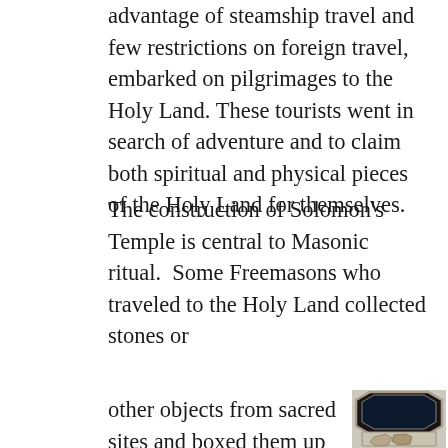advantage of steamship travel and few restrictions on foreign travel, embarked on pilgrimages to the Holy Land. These tourists went in search of adventure and to claim both spiritual and physical pieces of the Holy Land for themselves.
The construction of Solomon's Temple is central to Masonic ritual.  Some Freemasons who traveled to the Holy Land collected stones or
other objects from sacred sites and boxed them up for their own personal
[Figure (photo): An open octagonal silver box with a dark blue velvet interior lining, containing two small rough stones or rock fragments from a sacred site. The box lid is open showing the velvet lining, photographed against a light beige background.]